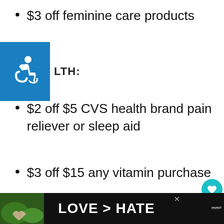$3 off feminine care products
ALTH:
$2 off $5 CVS health brand pain reliever or sleep aid
$3 off $15 any vitamin purchase
[Figure (infographic): Pink advertisement banner with person and text: Actions speak louder than words.]
[Figure (infographic): Dark bottom banner with LOVE > HATE text and Pandora logo]